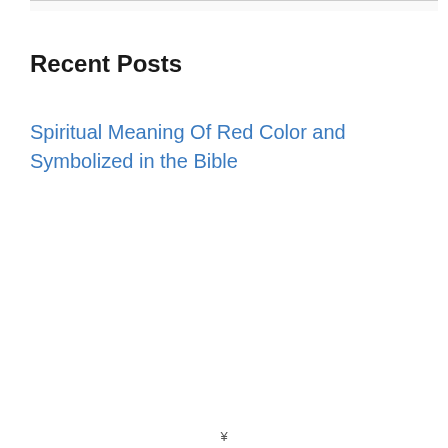Recent Posts
Spiritual Meaning Of Red Color and Symbolized in the Bible
¥